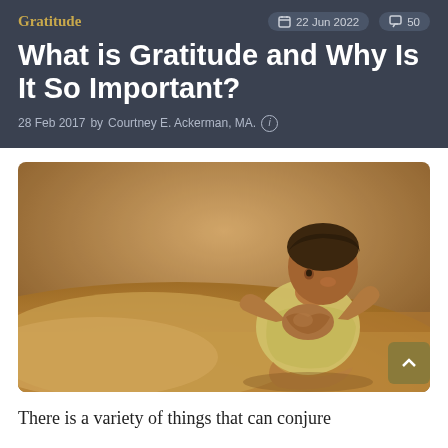Gratitude
22 Jun 2022   50
What is Gratitude and Why Is It So Important?
28 Feb 2017 by Courtney E. Ackerman, MA.
[Figure (photo): A young toddler sitting on sand, hands pressed together in a prayer or clapping gesture, warm golden tones, vintage style photo]
There is a variety of things that can conjure